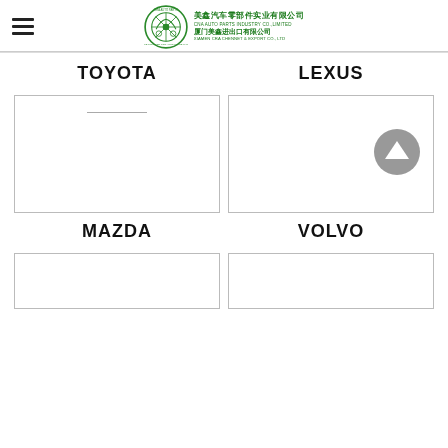CRA AUTO PARTS — 美鑫汽车零部件实业有限公司 / 厦门美鑫进出口有限公司
TOYOTA
LEXUS
[Figure (illustration): Empty product image box for TOYOTA with a short dash line near the top]
[Figure (illustration): Empty product image box for LEXUS]
MAZDA
VOLVO
[Figure (illustration): Empty product image box for MAZDA (partially visible)]
[Figure (illustration): Empty product image box for VOLVO (partially visible)]